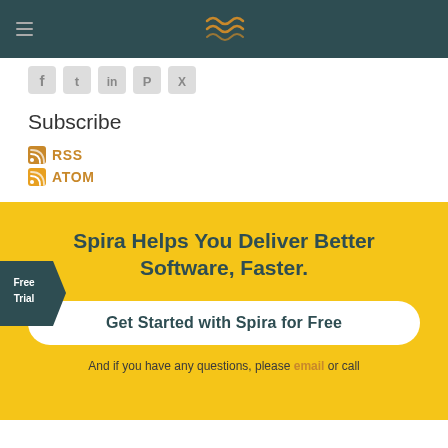Navigation bar with hamburger menu and Spira logo
[Figure (illustration): Social media share icons: Facebook, Twitter, LinkedIn, Pinterest, Xing]
Subscribe
RSS
ATOM
[Figure (illustration): Free Trial badge arrow on left side of yellow CTA section]
Spira Helps You Deliver Better Software, Faster.
Get Started with Spira for Free
And if you have any questions, please email or call